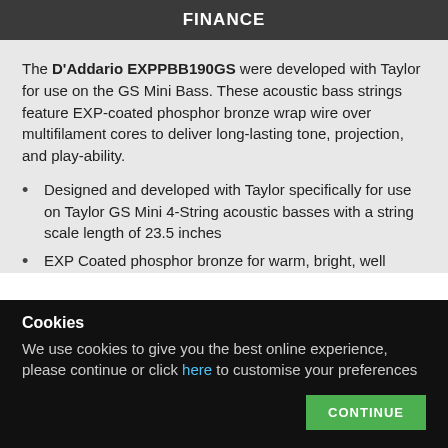FINANCE
The D'Addario EXPPBB190GS were developed with Taylor for use on the GS Mini Bass. These acoustic bass strings feature EXP-coated phosphor bronze wrap wire over multifilament cores to deliver long-lasting tone, projection, and play-ability.
Designed and developed with Taylor specifically for use on Taylor GS Mini 4-String acoustic basses with a string scale length of 23.5 inches
EXP Coated phosphor bronze for warm, bright, well
Cookies
We use cookies to give you the best online experience, please continue or click here to customise your preferences